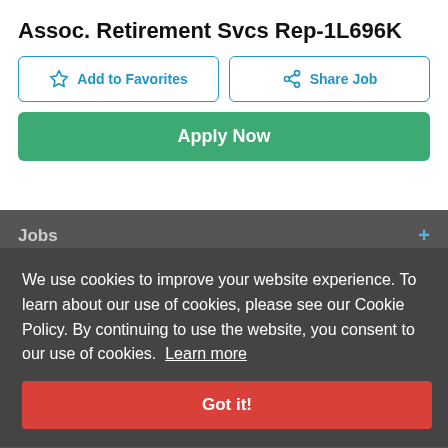Assoc. Retirement Svcs Rep-1L696K
Add to Favorites
Share Job
Apply Now
Jobs
We use cookies to improve your website experience. To learn about our use of cookies, please see our Cookie Policy. By continuing to use the website, you consent to our use of cookies. Learn more
Employers
Got it!